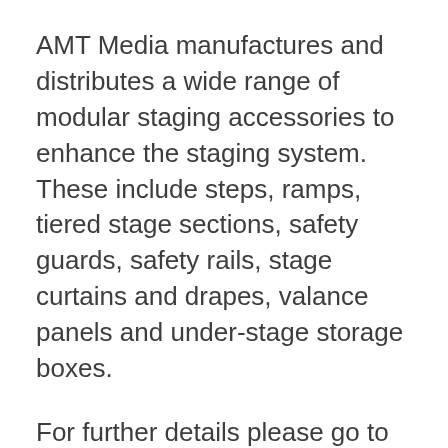AMT Media manufactures and distributes a wide range of modular staging accessories to enhance the staging system.   These include steps, ramps, tiered stage sections, safety guards, safety rails, stage curtains and drapes, valance panels and under-stage storage boxes.
For further details please go to the DOWNLOADS page to download our NEW Staging & Lighting brochure in PDF format.  And why not download our Modular Staging Offers PDF to email or hand out to